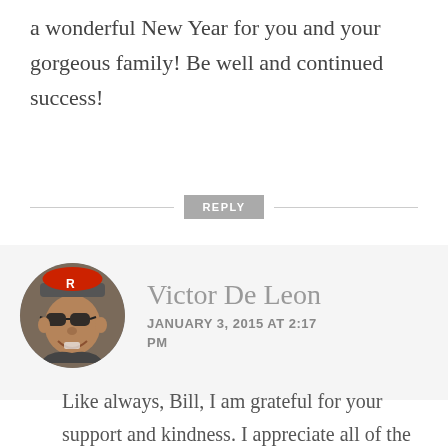a wonderful New Year for you and your gorgeous family! Be well and continued success!
[Figure (other): Reply button divider with horizontal lines on either side and a grey REPLY button in the center]
[Figure (photo): Circular avatar photo of Victor De Leon, a man wearing sunglasses and a red cap, smiling]
Victor De Leon
JANUARY 3, 2015 AT 2:17 PM
Like always, Bill, I am grateful for your support and kindness. I appreciate all of the likes, feedback and of course, the shares on Twitter. You help tremendously in spreading